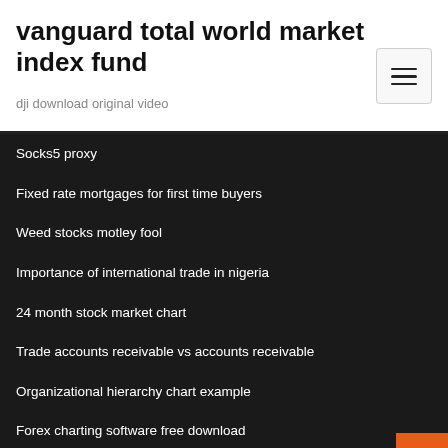vanguard total world market index fund
dji download original video
Socks5 proxy
Fixed rate mortgages for first time buyers
Weed stocks motley fool
Importance of international trade in nigeria
24 month stock market chart
Trade accounts receivable vs accounts receivable
Organizational hierarchy chart example
Forex charting software free download
Online statistics charts recent stock market statistics